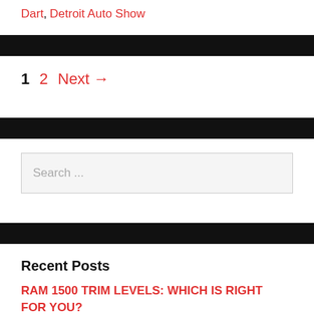Dart, Detroit Auto Show
1  2  Next →
Search ...
Recent Posts
RAM 1500 TRIM LEVELS: WHICH IS RIGHT FOR YOU?